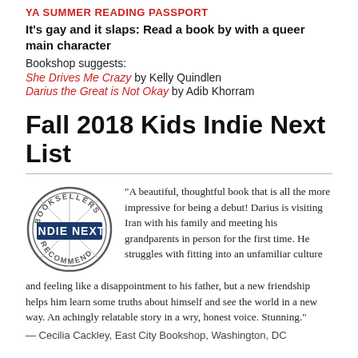YA SUMMER READING PASSPORT
It's gay and it slaps: Read a book by with a queer main character
Bookshop suggests:
She Drives Me Crazy by Kelly Quindlen
Darius the Great is Not Okay by Adib Khorram
Fall 2018 Kids Indie Next List
[Figure (logo): Indie Next Booksellers Recommend circular badge logo]
“A beautiful, thoughtful book that is all the more impressive for being a debut! Darius is visiting Iran with his family and meeting his grandparents in person for the first time. He struggles with fitting into an unfamiliar culture and feeling like a disappointment to his father, but a new friendship helps him learn some truths about himself and see the world in a new way. An achingly relatable story in a wry, honest voice. Stunning.”
— Cecilia Cackley, East City Bookshop, Washington, DC